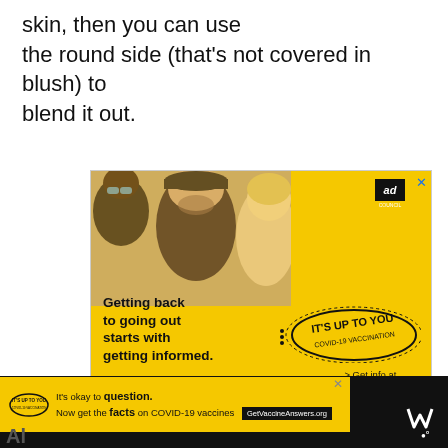skin, then you can use the round side (that’s not covered in blush) to blend it out.
[Figure (photo): Yellow advertisement for COVID-19 vaccination by Ad Council. Shows three young people laughing outdoors (photo on left). Text reads: 'Getting back to going out starts with getting informed.' Stamp badge reads 'IT’S UP TO YOU COVID-19 VACCINATION'. Bottom text: '> Get info at GetVaccineAnswers.org']
[Figure (photo): Bottom banner ad (partially visible) on dark background. Yellow strip with stamp icon, text: 'It’s okay to question. Now get the facts on COVID-19 vaccines' and button 'GetVaccineAnswers.org'. Also shows partial Wired logo on right.]